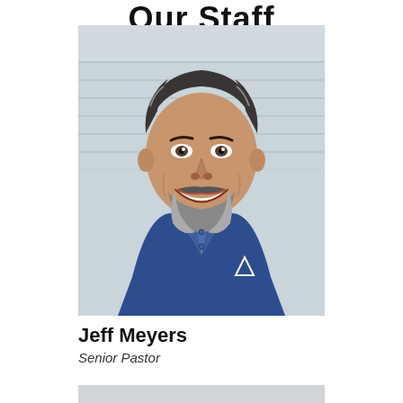Our Staff
[Figure (photo): Headshot of Jeff Meyers, a middle-aged man with dark hair and a gray beard, smiling broadly, wearing a navy blue polo shirt with a logo on the chest, photographed against a light blue/white background.]
Jeff Meyers
Senior Pastor
[Figure (photo): Bottom portion of another staff member photo, partially visible at the bottom of the page.]